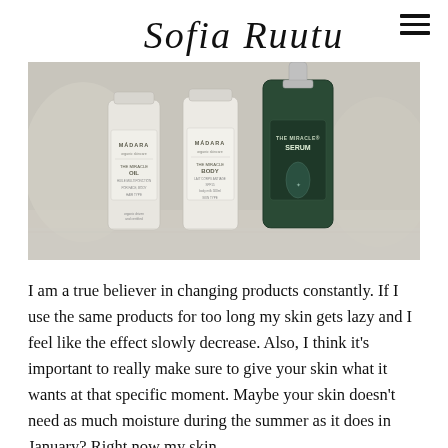Sofia Ruutu
[Figure (photo): Three MADARA skincare products (The Miracle line) — two white bottles and one dark green serum bottle with a silver pump — arranged on a light surface with a soft blurred background.]
I am a true believer in changing products constantly. If I use the same products for too long my skin gets lazy and I feel like the effect slowly decrease. Also, I think it's important to really make sure to give your skin what it wants at that specific moment. Maybe your skin doesn't need as much moisture during the summer as it does in January? Right now my skin